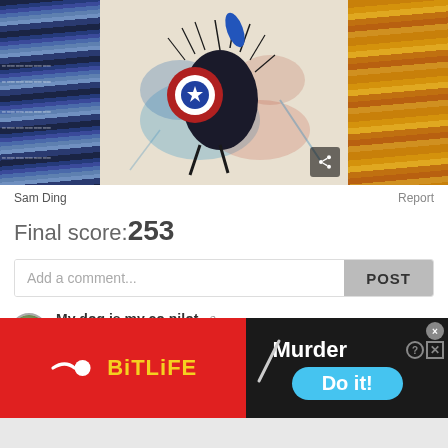[Figure (illustration): Colorful artwork of a dog dressed as Captain America with watercolor splashes, flanked by colored pencils on left (blue tones) and right (orange/yellow tones)]
Sam Ding
Report
Final score:253
Add a comment...
POST
My dog is my co pilot.  3 years ago
Amazing.
16  Reply
[Figure (screenshot): BitLife advertisement banner with red background on left showing BitLife logo, and dark background on right showing 'Murder' text and 'Do it!' blue button]